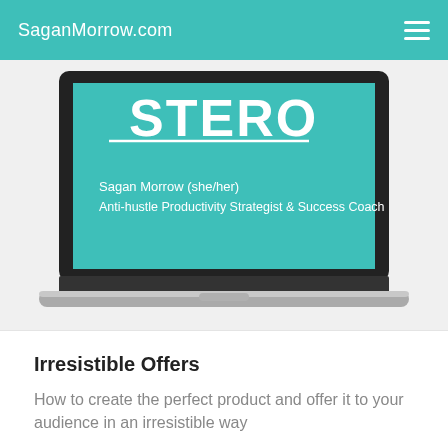SaganMorrow.com
[Figure (screenshot): Laptop showing a teal slide with text 'Sagan Morrow (she/her) Anti-hustle Productivity Strategist & Success Coach']
Irresistible Offers
How to create the perfect product and offer it to your audience in an irresistible way